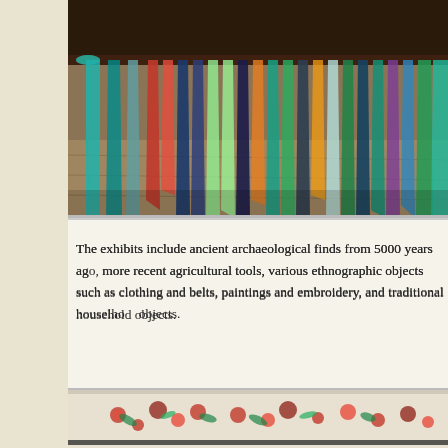[Figure (photo): Colorful fabric pieces and textile scraps hanging or displayed, with teal, red, blue, green, and other multicolored fabrics visible against a wooden floor background]
The exhibits include ancient archaeological finds from 5000 years ago, more recent agricultural tools, various ethnographic objects such as clothing and belts, paintings and embroidery, and traditional household objects.
[Figure (photo): Elaborately embroidered traditional folk costume laid out flat, featuring intricate floral patterns in red, green, and other colors on white fabric with detailed needlework and decorative elements]